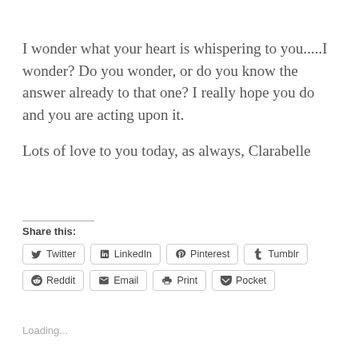I wonder what your heart is whispering to you.....I wonder?  Do you wonder, or do you know the answer already to that one?  I really hope you do and you are acting upon it.

Lots of love to you today, as always, Clarabelle
Share this:
Twitter  LinkedIn  Pinterest  Tumblr  Reddit  Email  Print  Pocket
Loading...